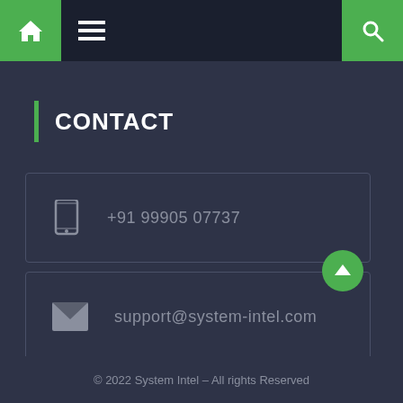Navigation bar with home, menu, and search icons
CONTACT
+91 99905 07737
support@system-intel.com
© 2022 System Intel – All rights Reserved